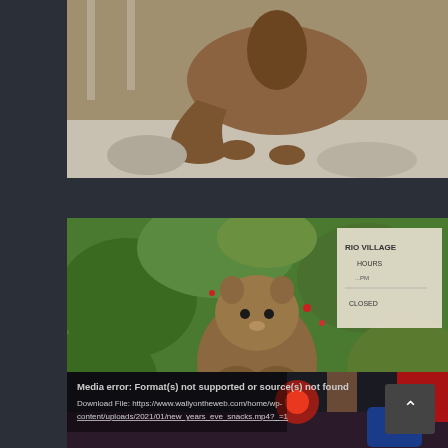[Figure (photo): Partial photo of a squirrel on a stone surface, cropped at top, showing the lower body and surroundings with green foliage.]
[Figure (photo): A squirrel sitting upright on a white stone surface, facing the camera with green leafy plants behind it. A sign in the background reads 'RADIO VILLAGE HOURS ... CLOSED'.]
[Figure (photo): A video player showing a media error: 'Media error: Format(s) not supported or source(s) not found'. Download File URL shown. Background shows a dark scene with a red candle and blue container. A back-to-top button is visible.]